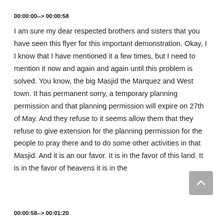00:00:00--> 00:00:58
I am sure my dear respected brothers and sisters that you have seen this flyer for this important demonstration. Okay, I I know that I have mentioned it a few times, but I need to mention it now and again and again until this problem is solved. You know, the big Masjid the Marquez and West town. It has permanent sorry, a temporary planning permission and that planning permission will expire on 27th of May. And they refuse to it seems allow them that they refuse to give extension for the planning permission for the people to pray there and to do some other activities in that Masjid. And it is an our favor. It is in the favor of this land. It is in the favor of heavens it is in the
00:00:58--> 00:01:20